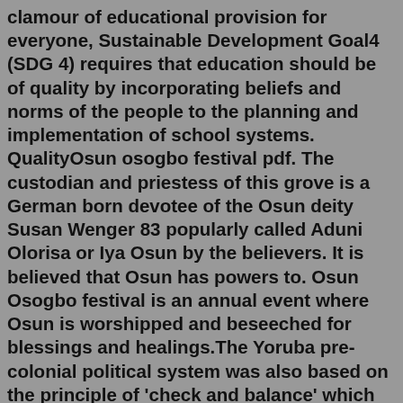clamour of educational provision for everyone, Sustainable Development Goal4 (SDG 4) requires that education should be of quality by incorporating beliefs and norms of the people to the planning and implementation of school systems. QualityOsun osogbo festival pdf. The custodian and priestess of this grove is a German born devotee of the Osun deity Susan Wenger 83 popularly called Aduni Olorisa or Iya Osun by the believers. It is believed that Osun has powers to. Osun Osogbo festival is an annual event where Osun is worshipped and beseeched for blessings and healings.The Yoruba pre-colonial political system was also based on the principle of 'check and balance' which implies that each administrative level can check, challenge or nullify actions of other levels irrespective of their administrative hierarchy. For example, in the pre-colonial political system of the Oyo empire, the Oyomesi ( 7 hereditary ...Enter the email address you signed up with and we'll email you a reset link. This is one of the most well-known Japanese legends. 5. The